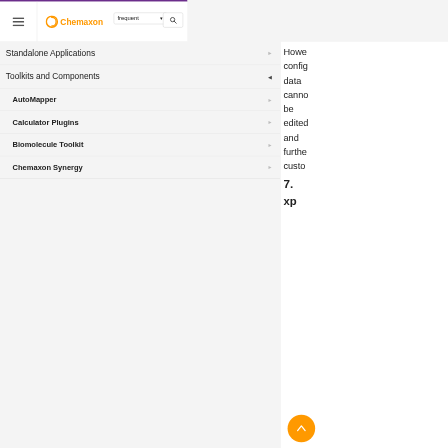[Figure (screenshot): Chemaxon navigation website screenshot showing a top navigation bar with hamburger menu, Chemaxon logo, frequent dropdown, and search icon, followed by a left side navigation panel with Standalone Applications, Toolkits and Components (expanded) showing AutoMapper, Calculator Plugins, Biomolecule Toolkit, Chemaxon Synergy, Document to Structure, JChem Base, JChem Choral, and a right panel with partial text about configuration data and section 7 with an orange scroll-up button.]